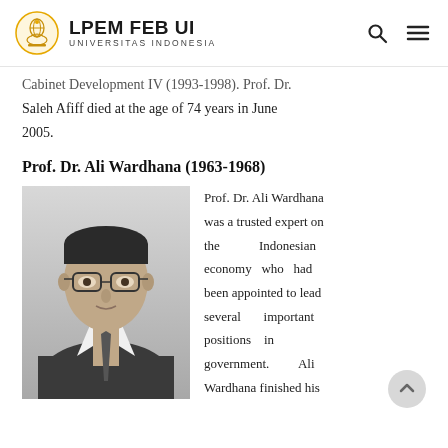LPEM FEB UI UNIVERSITAS INDONESIA
Cabinet Development IV (1993-1998). Prof. Dr. Saleh Afiff died at the age of 74 years in June 2005.
Prof. Dr. Ali Wardhana (1963-1968)
[Figure (photo): Black and white portrait photograph of Prof. Dr. Ali Wardhana, a man wearing glasses and a suit with a tie]
Prof. Dr. Ali Wardhana was a trusted expert on the Indonesian economy who had been appointed to lead several important positions in government. Ali Wardhana finished his